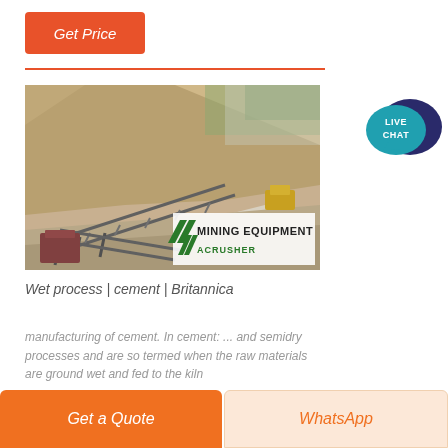Get Price
[Figure (photo): Outdoor mining quarry scene with conveyor belts, rock face, and heavy equipment. In the lower right corner is a watermark/logo reading 'MINING EQUIPMENT ACRUSHER' with green diagonal stripes.]
[Figure (illustration): Live Chat speech bubble icon in teal/dark blue colors with text 'LIVE CHAT']
Wet process | cement | Britannica
manufacturing of cement. In cement: ... and semidry processes and are so termed when the raw materials are ground wet and fed to the kiln
Get a Quote
WhatsApp